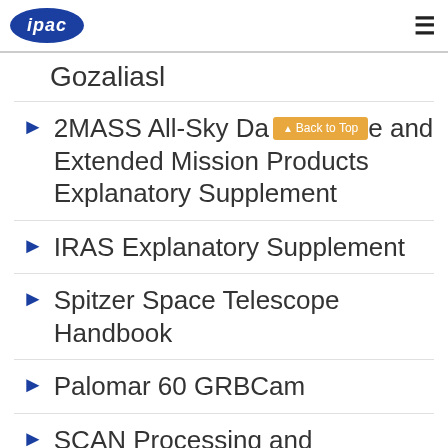ipac
Gozaliasl
2MASS All-Sky Data and Extended Mission Products Explanatory Supplement
IRAS Explanatory Supplement
Spitzer Space Telescope Handbook
Palomar 60 GRBCam
SCAN Processing and Integration